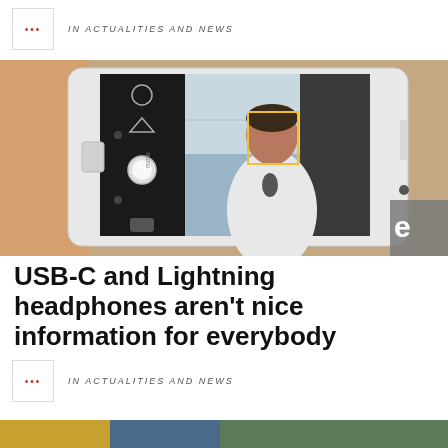in ACTUALITIES AND NEWS
[Figure (photo): A hand holding a white Motorola Moto smartphone horizontally, with the camera app open showing a man in a white shirt standing in a room. The phone screen shows a face-detection rectangle around the man's face.]
USB-C and Lightning headphones aren't nice information for everybody
in ACTUALITIES AND NEWS
[Figure (photo): Partial bottom strip of another image]